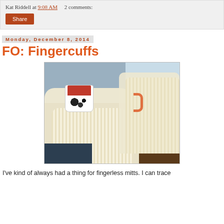Kat Riddell at 9:08 AM  2 comments:
Share
Monday, December 8, 2014
FO: Fingercuffs
[Figure (photo): Two hands wearing cream/yellow knitted fingerless mitts holding a white mug with black splatters and a red interior, on a dark wooden table]
I've kind of always had a thing for fingerless mitts. I can trace